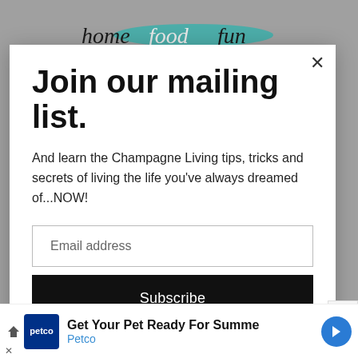[Figure (logo): Home food fun blog logo with teal/turquoise brushstroke background, script handwriting style text]
Join our mailing list.
And learn the Champagne Living tips, tricks and secrets of living the life you've always dreamed of...NOW!
Email address
Subscribe
[Figure (infographic): Petco advertisement banner: 'Get Your Pet Ready For Summe' with Petco logo and blue arrow icon]